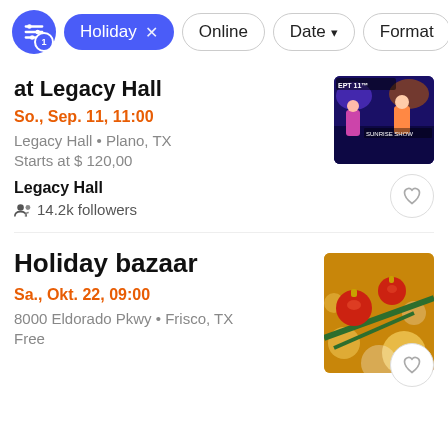Holiday x  Online  Date ▾  Format
at Legacy Hall
So., Sep. 11, 11:00
Legacy Hall • Plano, TX
Starts at $ 120,00
Legacy Hall
14.2k followers
[Figure (photo): Concert event photo at Legacy Hall showing performers on stage with text EPT11]
Holiday bazaar
Sa., Okt. 22, 09:00
8000 Eldorado Pkwy • Frisco, TX
Free
[Figure (photo): Holiday bazaar photo showing red Christmas ornaments on pine branches with golden bokeh background]